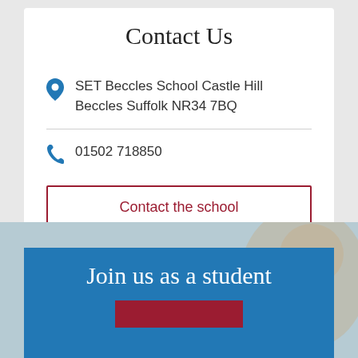Contact Us
SET Beccles School Castle Hill Beccles Suffolk NR34 7BQ
01502 718850
Contact the school
Join us as a student